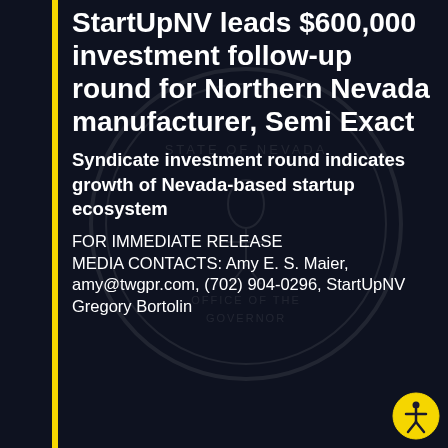StartUpNV leads $600,000 investment follow-up round for Northern Nevada manufacturer, Semi Exact
Syndicate investment round indicates growth of Nevada-based startup ecosystem
FOR IMMEDIATE RELEASE MEDIA CONTACTS: Amy E. S. Maier, amy@twgpr.com, (702) 904-0296, StartUpNV Gregory Bortolin